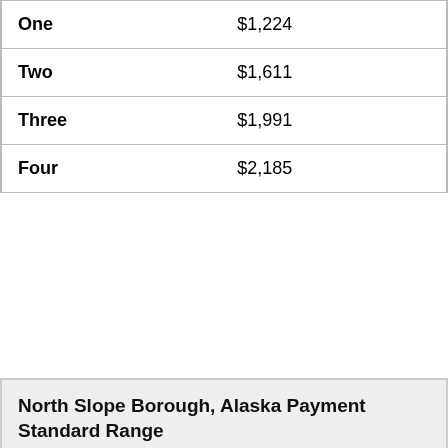| Bedroom Size | Payment Standard |
| --- | --- |
| One | $1,224 |
| Two | $1,611 |
| Three | $1,991 |
| Four | $2,185 |
North Slope Borough, Alaska Payment Standard Range
| Bedroom Size | Payment Standard Range |
| --- | --- |
| Studio | $967 to $1,181 |
Sign Up For Housing Wait List Alerts